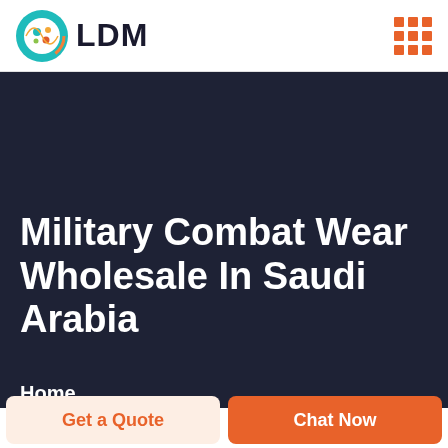LDM
Military Combat Wear Wholesale In Saudi Arabia
Home
Get a Quote
Chat Now